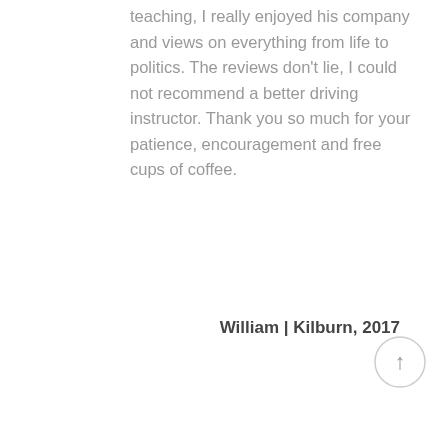teaching, I really enjoyed his company and views on everything from life to politics. The reviews don't lie, I could not recommend a better driving instructor. Thank you so much for your patience, encouragement and free cups of coffee.
William | Kilburn, 2017